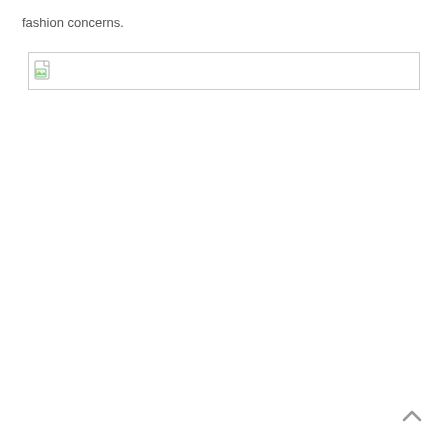fashion concerns.
[Figure (other): Broken/missing image placeholder with small image icon on the left and a wide bordered rectangle, indicating an image that failed to load.]
[Figure (other): Scroll-to-top arrow chevron icon in the bottom-right corner of the page.]